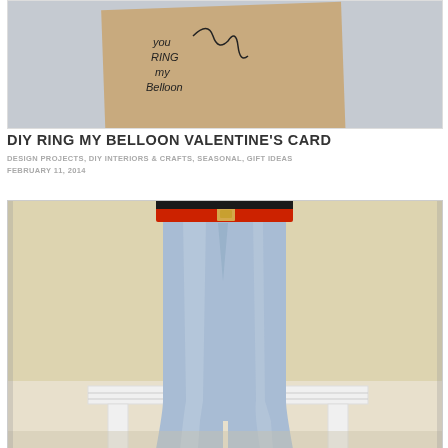[Figure (photo): A hand holding a square kraft paper card with handwritten text reading 'you ring my belloon' with a drawn telephone cord, against a light gray background]
DIY RING MY BELLOON VALENTINE'S CARD
DESIGN PROJECTS, DIY INTERIORS & CRAFTS, SEASONAL, GIFT IDEAS
FEBRUARY 11, 2014
[Figure (photo): A person wearing blue jeans and a red belt sitting on a white wooden bench against a beige/cream textured wall background, body cropped from waist down]